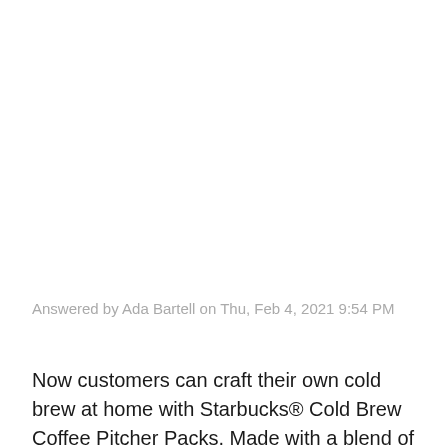Answered by Ada Bartell on Thu, Feb 4, 2021 9:54 PM
Now customers can craft their own cold brew at home with Starbucks® Cold Brew Coffee Pitcher Packs. Made with a blend of 100% percent arabica Latin American and African ground coffees, the pitcher packs use the same Cold Brew Blend that is